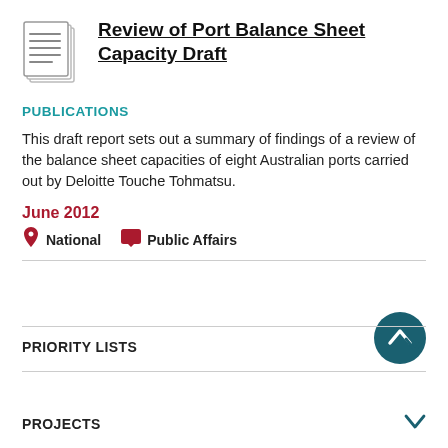Review of Port Balance Sheet Capacity Draft
PUBLICATIONS
This draft report sets out a summary of findings of a review of the balance sheet capacities of eight Australian ports carried out by Deloitte Touche Tohmatsu.
June 2012
National   Public Affairs
[Figure (other): Circular teal scroll-to-top button with an upward chevron arrow]
PRIORITY LISTS
PROJECTS